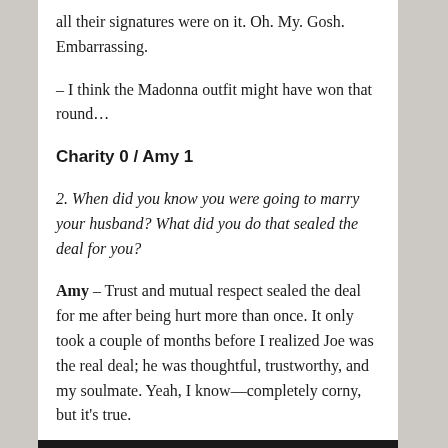all their signatures were on it. Oh. My. Gosh. Embarrassing.
– I think the Madonna outfit might have won that round...
Charity 0 / Amy 1
2. When did you know you were going to marry your husband? What did you do that sealed the deal for you?
Amy – Trust and mutual respect sealed the deal for me after being hurt more than once. It only took a couple of months before I realized Joe was the real deal; he was thoughtful, trustworthy, and my soulmate. Yeah, I know—completely corny, but it's true.